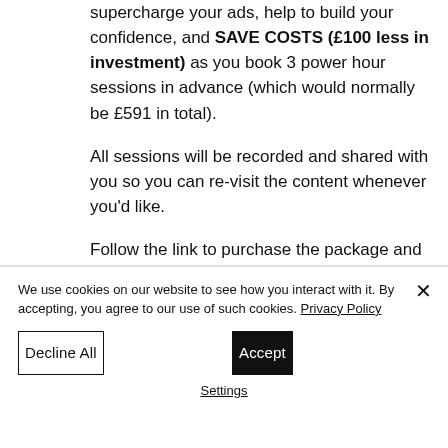supercharge your ads, help to build your confidence, and SAVE COSTS (£100 less in investment) as you book 3 power hour sessions in advance (which would normally be £591 in total).
All sessions will be recorded and shared with you so you can re-visit the content whenever you'd like.
Follow the link to purchase the package and book your first Power Hour.
We use cookies on our website to see how you interact with it. By accepting, you agree to our use of such cookies. Privacy Policy
Decline All
Accept
Settings